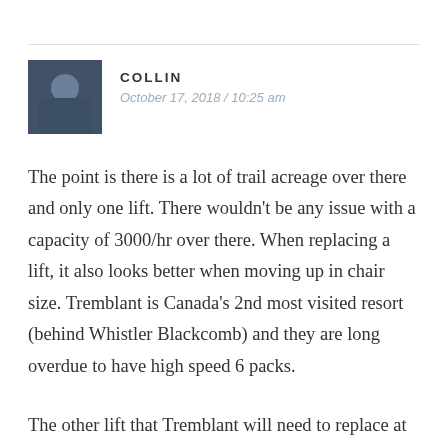[Figure (photo): Small square avatar photo of user Collin, showing a dark/bluish image]
COLLIN
October 17, 2018 / 10:25 am
The point is there is a lot of trail acreage over there and only one lift. There wouldn't be any issue with a capacity of 3000/hr over there. When replacing a lift, it also looks better when moving up in chair size. Tremblant is Canada's 2nd most visited resort (behind Whistler Blackcomb) and they are long overdue to have high speed 6 packs.
The other lift that Tremblant will need to replace at some point is Duncan which is a 1991 high speed quad that often has long lines. The replacement of Lowell Thomas will help with that somewhat, but I expect its